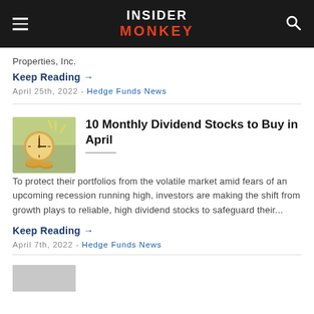[Figure (logo): Insider Monkey website header with logo, hamburger menu, and search icon]
Properties, Inc.
Keep Reading →
April 25th, 2022 - Hedge Funds News
10 Monthly Dividend Stocks to Buy in April
To protect their portfolios from the volatile market amid fears of an upcoming recession running high, investors are making the shift from growth plays to reliable, high dividend stocks to safeguard their...
Keep Reading →
April 7th, 2022 - Hedge Funds News